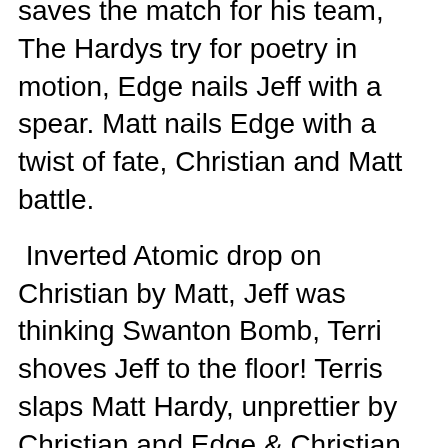saves the match for his team, The Hardys try for poetry in motion, Edge nails Jeff with a spear. Matt nails Edge with a twist of fate, Christian and Matt battle.
Inverted Atomic drop on Christian by Matt, Jeff was thinking Swanton Bomb, Terri shoves Jeff to the floor! Terris slaps Matt Hardy, unprettier by Christian and Edge & Christian win! Terri celebrates with Edge and Christian as the winning team look at her like what the hell is this about? Terri taunts for too long but The APA protect Terri as they were supposed to do. Hardys are laid out by The APA, Jeff takes a brutal dominator from Faarooq. That was a long match, it was fine nothing bad and Terri's turn was definitely unexpected but these two teams would have better matches.
Winners: Edge & Christian over The